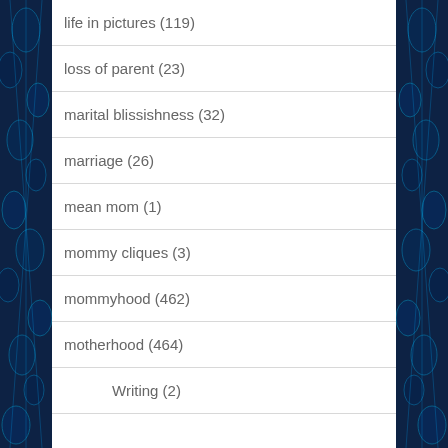life in pictures (119)
loss of parent (23)
marital blissishness (32)
marriage (26)
mean mom (1)
mommy cliques (3)
mommyhood (462)
motherhood (464)
Writing (2)